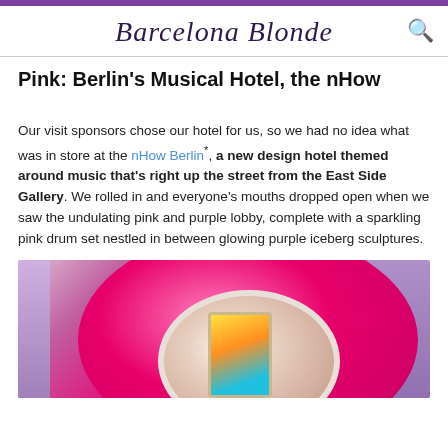Barcelona Blonde
Pink: Berlin's Musical Hotel, the nHow
Our visit sponsors chose our hotel for us, so we had no idea what was in store at the nHow Berlin*, a new design hotel themed around music that's right up the street from the East Side Gallery. We rolled in and everyone's mouths dropped open when we saw the undulating pink and purple lobby, complete with a sparkling pink drum set nestled in between glowing purple iceberg sculptures.
[Figure (photo): Photo of the nHow Berlin hotel lobby featuring a large pink drum kit with a curved pink shell and white/cream drum head, with a colorful screen visible inside and purple ambiance in the background.]